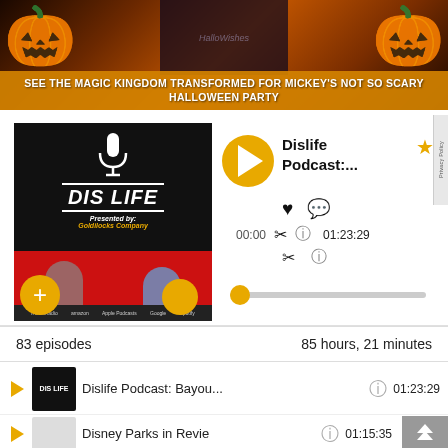[Figure (screenshot): Halloween-themed Magic Kingdom banner with pumpkins and text overlay: SEE THE MAGIC KINGDOM TRANSFORMED FOR MICKEY'S NOT SO SCARY HALLOWEEN PARTY]
[Figure (screenshot): DIS LIFE podcast player widget showing podcast artwork, play button, title 'Dislife Podcast...', time 00:00 / 01:23:29, progress bar, heart/share/info icons, and Privacy Policy tab]
83 episodes
85 hours, 21 minutes
Dislife Podcast: Bayou...
01:23:29
Disney Parks in Revie
01:15:35